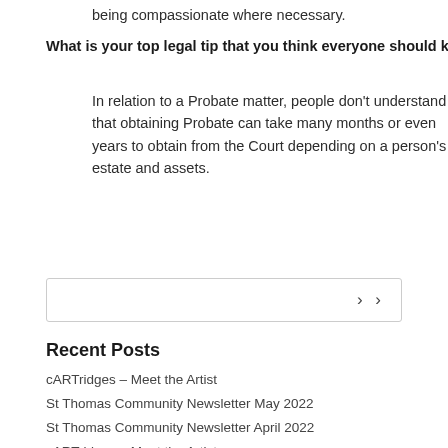being compassionate where necessary.
What is your top legal tip that you think everyone should know?
In relation to a Probate matter, people don't understand that obtaining Probate can take many months or even years to obtain from the Court depending on a person's estate and assets.
[Figure (other): Navigation box with forward arrow buttons (>  >)]
Recent Posts
cARTridges – Meet the Artist
St Thomas Community Newsletter May 2022
St Thomas Community Newsletter April 2022
cARTridges – Meet the Artist